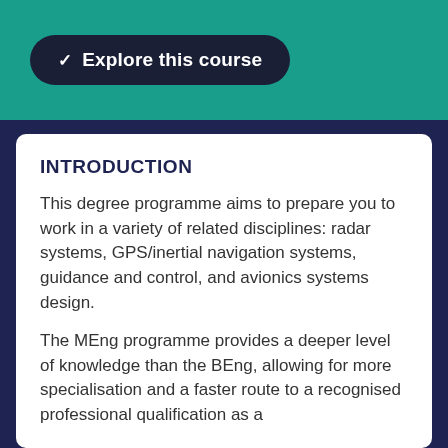Explore this course
INTRODUCTION
This degree programme aims to prepare you to work in a variety of related disciplines: radar systems, GPS/inertial navigation systems, guidance and control, and avionics systems design.
The MEng programme provides a deeper level of knowledge than the BEng, allowing for more specialisation and a faster route to a recognised professional qualification as a Chartered Engineer.